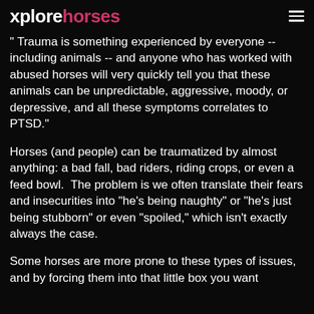xplorehorses
" Trauma is something experienced by everyone -- including animals -- and anyone who has worked with abused horses will very quickly tell you that these animals can be unpredictable, aggressive, moody, or depressive, and all these symptoms correlates to PTSD."
Horses (and people) can be traumatized by almost anything: a bad fall, bad riders, riding crops, or even a feed bowl.  The problem is we often translate their fears and insecurities into "he's being naughty" or "he's just being stubborn" or even "spoiled," which isn't exactly always the case.
Some horses are more prone to these types of issues, and by forcing them into that little box you want